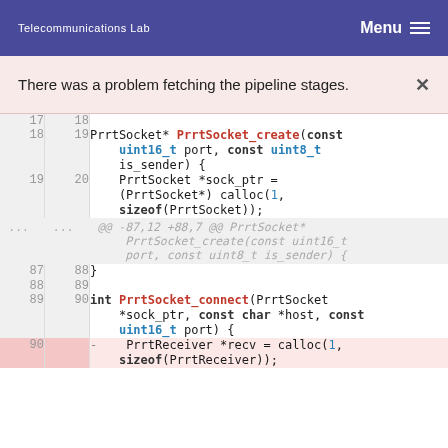Telecommunications Lab  Menu
There was a problem fetching the pipeline stages.  ×
[Figure (screenshot): Code diff view showing C source code with line numbers. Lines 17-19 (old) / 18-20 (new) show PrrtSocket_create function definition. A hunk header shows @@ -87,12 +88,7 @@ context. Lines 87-89 (old) / 88-90 (new) show closing brace and PrrtSocket_connect function start. Line 90 (old) is deleted (red), showing PrrtReceiver *recv = calloc(1, sizeof(PrrtReceiver));]